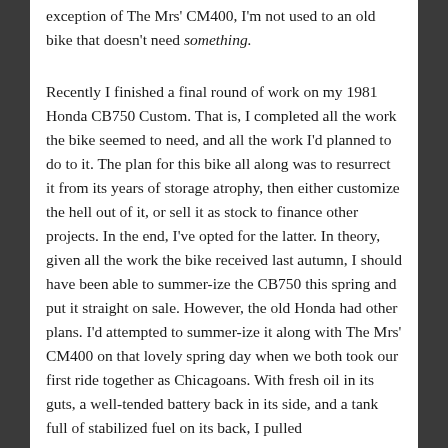exception of The Mrs' CM400, I'm not used to an old bike that doesn't need something.
Recently I finished a final round of work on my 1981 Honda CB750 Custom. That is, I completed all the work the bike seemed to need, and all the work I'd planned to do to it. The plan for this bike all along was to resurrect it from its years of storage atrophy, then either customize the hell out of it, or sell it as stock to finance other projects. In the end, I've opted for the latter. In theory, given all the work the bike received last autumn, I should have been able to summer-ize the CB750 this spring and put it straight on sale. However, the old Honda had other plans. I'd attempted to summer-ize it along with The Mrs' CM400 on that lovely spring day when we both took our first ride together as Chicagoans. With fresh oil in its guts, a well-tended battery back in its side, and a tank full of stabilized fuel on its back, I pulled